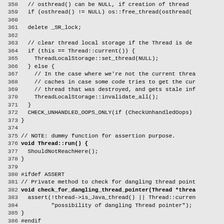Source code listing, lines 358–388, showing C++ thread destructor and related functions